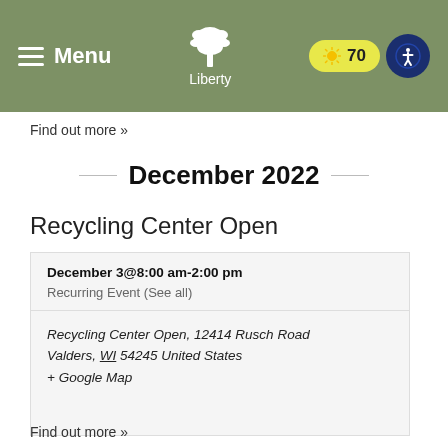[Figure (screenshot): Website header with green background, hamburger Menu button on left, Liberty tree logo in center, weather pill showing 70 degrees and accessibility icon on right]
Find out more »
December 2022
Recycling Center Open
| December 3@8:00 am-2:00 pm |
| Recurring Event (See all) |
| Recycling Center Open, 12414 Rusch Road Valders, WI 54245 United States |
| + Google Map |
Find out more »